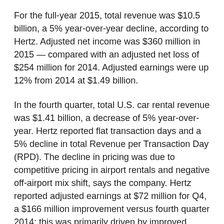For the full-year 2015, total revenue was $10.5 billion, a 5% year-over-year decline, according to Hertz. Adjusted net income was $360 million in 2015 — compared with an adjusted net loss of $254 million for 2014. Adjusted earnings were up 12% from 2014 at $1.49 billion.
In the fourth quarter, total U.S. car rental revenue was $1.41 billion, a decrease of 5% year-over-year. Hertz reported flat transaction days and a 5% decline in total Revenue per Transaction Day (RPD). The decline in pricing was due to competitive pricing in airport rentals and negative off-airport mix shift, says the company. Hertz reported adjusted earnings at $72 million for Q4, a $166 million improvement versus fourth quarter 2014; this was primarily driven by improved productivity and fleet management.